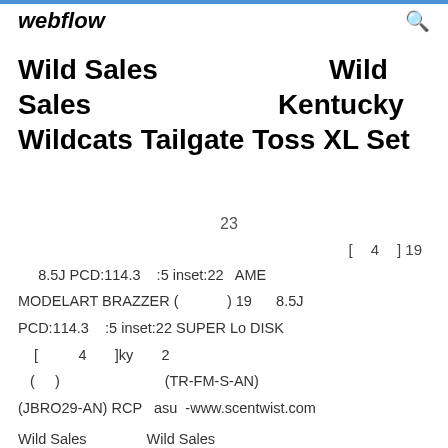webflow
Wild Sales Wild Sales Kentucky Wildcats Tailgate Toss XL Set
23
[ 4 ] 19
8.5J PCD:114.3 :5 inset:22 AME
MODELART BRAZZER ( ) 19 8.5J PCD:114.3 :5 inset:22 SUPER Lo DISK
[ 4 ]ky 2
( ) (TR-FM-S-AN)
(JBRO29-AN) RCP asu -www.scentwist.com
Wild Sales Wild Sales